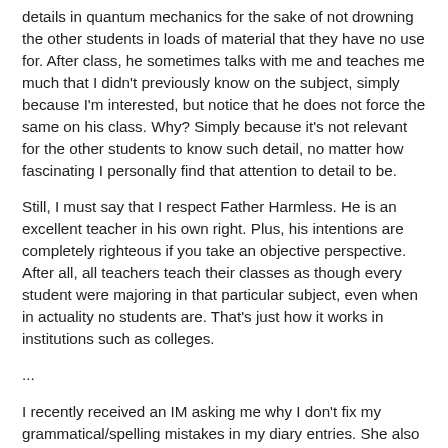details in quantum mechanics for the sake of not drowning the other students in loads of material that they have no use for. After class, he sometimes talks with me and teaches me much that I didn't previously know on the subject, simply because I'm interested, but notice that he does not force the same on his class. Why? Simply because it's not relevant for the other students to know such detail, no matter how fascinating I personally find that attention to detail to be.
Still, I must say that I respect Father Harmless. He is an excellent teacher in his own right. Plus, his intentions are completely righteous if you take an objective perspective. After all, all teachers teach their classes as though every student were majoring in that particular subject, even when in actuality no students are. That's just how it works in institutions such as colleges.
...
I recently received an IM asking me why I don't fix my grammatical/spelling mistakes in my diary entries. She also asked why I don't delete completely retarded notes that are left on my diary. My answer was simple: I don't believe in changing the text I wrote